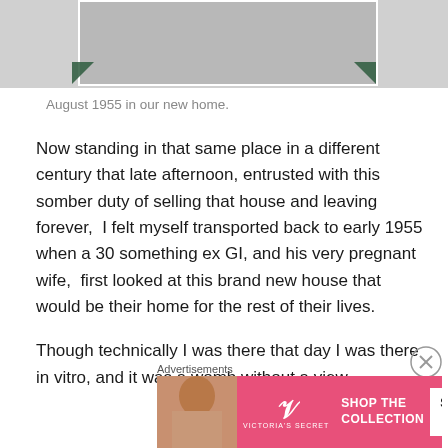[Figure (photo): Partial view of a black and white photograph with decorative corner mounts, showing the bottom portion of a person or scene, cropped at top]
August 1955 in our new home.
Now standing in that same place in a different century that late afternoon, entrusted with this somber duty of selling that house and leaving forever,  I felt myself transported back to early 1955 when a 30 something ex GI, and his very pregnant wife,  first looked at this brand new house that would be their home for the rest of their lives.
Though technically I was there that day I was there in vitro, and it was a womb without a view.
Advertisements
[Figure (photo): Victoria's Secret advertisement banner with model, VS logo, 'SHOP THE COLLECTION' text, and 'SHOP NOW' call-to-action button]